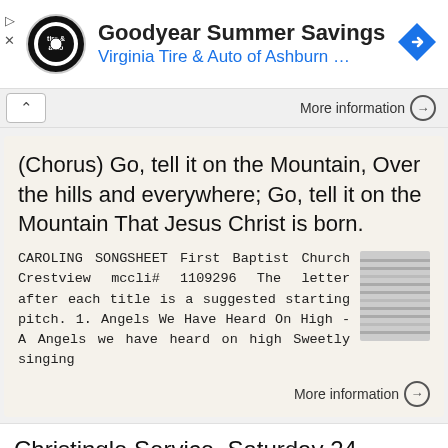[Figure (screenshot): Ad banner for Goodyear Summer Savings showing Virginia Tire & Auto of Ashburn, with circular logo on left and blue direction icon on right]
Goodyear Summer Savings
Virginia Tire & Auto of Ashburn …
More information →
(Chorus) Go, tell it on the Mountain, Over the hills and everywhere; Go, tell it on the Mountain That Jesus Christ is born.
CAROLING SONGSHEET First Baptist Church Crestview mccli# 1109296 The letter after each title is a suggested starting pitch. 1. Angels We Have Heard On High -A Angels we have heard on high Sweetly singing
More information →
Christingle Service. Saturday 24 December